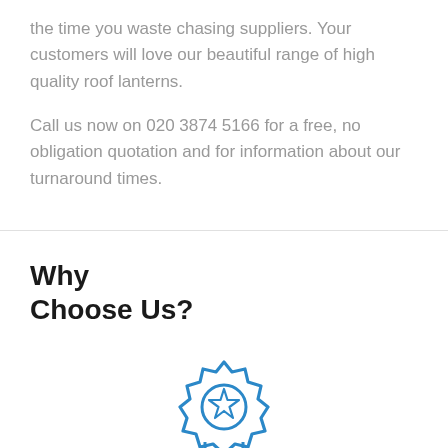the time you waste chasing suppliers. Your customers will love our beautiful range of high quality roof lanterns.
Call us now on 020 3874 5166 for a free, no obligation quotation and for information about our turnaround times.
Why
Choose Us?
[Figure (illustration): Award/quality badge icon — a ribbon medallion with a star in the centre, drawn in blue outline style]